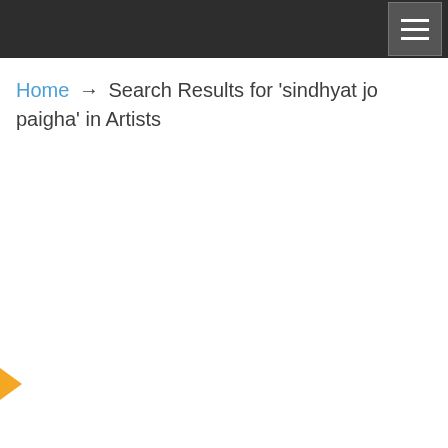Home → Search Results for 'sindhyat jo paigha' in Artists